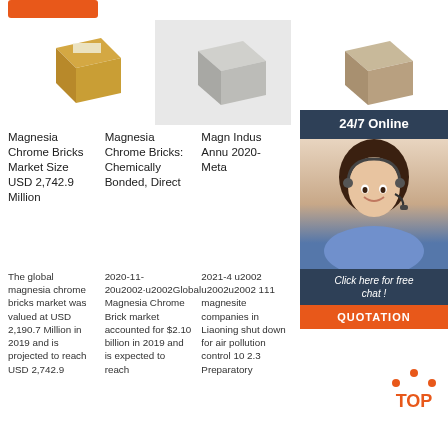[Figure (photo): Orange button/badge at top left]
[Figure (photo): Three product images of magnesia chrome bricks in a row]
Magnesia Chrome Bricks Market Size USD 2,742.9 Million
Magnesia Chrome Bricks: Chemically Bonded, Direct
Magn Indus Annu 2020- Meta
The global magnesia chrome bricks market was valued at USD 2,190.7 Million in 2019 and is projected to reach USD 2,742.9
2020-11-20u2002·u2002Global Magnesia Chrome Brick market accounted for $2.10 billion in 2019 and is expected to reach
2021-4 u2002 u2002u2002 111 magnesite companies in Liaoning shut down for air pollution control 10 2.3 Preparatory
[Figure (photo): 24/7 Online chat overlay with customer service representative, click here for free chat button, and QUOTATION button]
[Figure (other): TOP badge with orange dots]